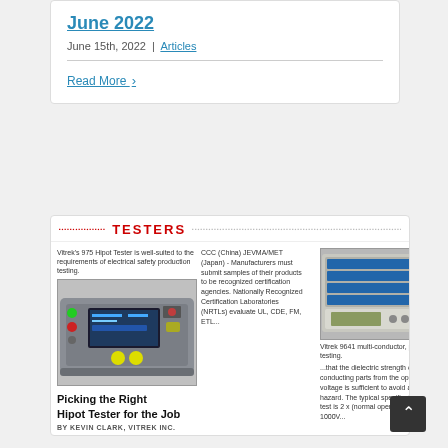June 2022
June 15th, 2022 | Articles
Read More
TESTERS
Vitrek's 975 Hipot Tester is well-suited to the requirements of electrical safety production testing.
[Figure (photo): Vitrek 975 Hipot Tester device - handheld/benchtop electrical safety tester with display screen and yellow terminals]
Picking the Right Hipot Tester for the Job
BY KEVIN CLARK, VITREK INC.
[Figure (photo): Vitrek 9641 multi-conductor electrical safety tester device with rack-mounted circuit boards]
Vitrek 9641 multi-conductor, production testing.
CCC (China) JEVMA/MET (Japan) - Manufacturers must submit samples of their products to be recognized certification agencies. Nationally Recognized Certification Laboratories (NRTLs) evaluate UL, CDE, FM, ETL...
...that the dielectric strength of the non-conducting parts from the operating voltage is sufficient to avoid a shock hazard. The typical specification for this test is 2 x (normal operating voltage) + 1000V...